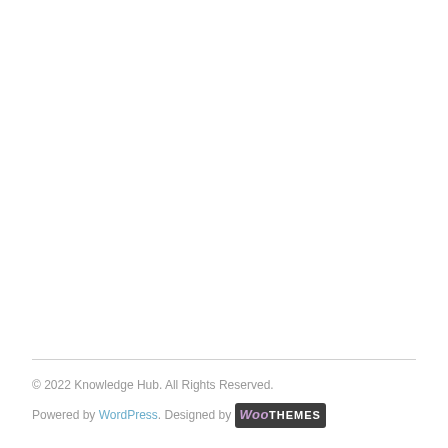© 2022 Knowledge Hub. All Rights Reserved.
Powered by WordPress. Designed by WooThemes